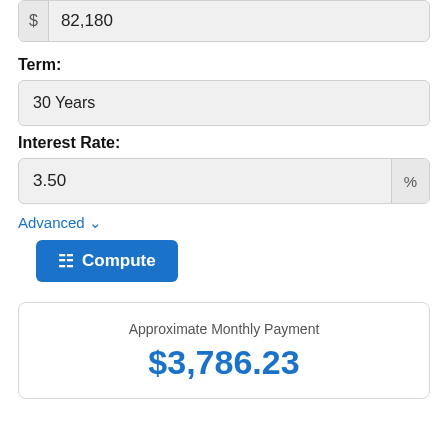82,180
Term:
30 Years
Interest Rate:
3.50 %
Advanced ∨
Compute
Approximate Monthly Payment
$3,786.23